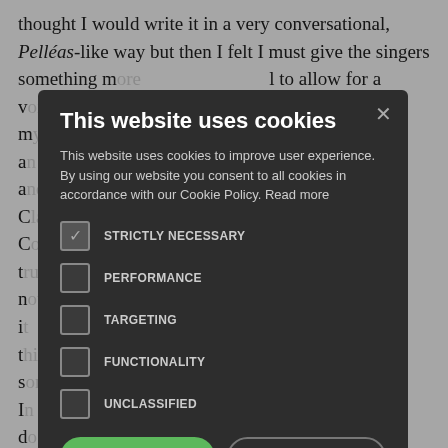thought I would write it in a very conversational, Pelléas-like way but then I felt I must give the singers something m... to allow for a v... ument. Owen is m... ary tutor is a... sonal warmth a... urage in C... ohn Shirley- C... The same is t... e struggle is n... iance and i... art. I always t... nature of the s... I... ulus today d... could say people are my note rows' is how he put it to me, and it
[Figure (screenshot): Cookie consent modal overlay on a webpage. Dark modal with title 'This website uses cookies', body text about cookie policy, five cookie category checkboxes (STRICTLY NECESSARY checked, PERFORMANCE, TARGETING, FUNCTIONALITY, UNCLASSIFIED unchecked), two buttons (ACCEPT ALL in green, DECLINE ALL outlined), and a SHOW DETAILS option with gear icon.]